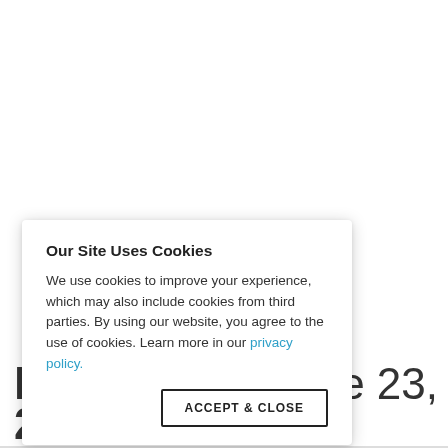[Figure (screenshot): Cookie consent modal overlay on a webpage. Modal contains title 'Our Site Uses Cookies', body text about cookie usage, a link to privacy policy, and an 'ACCEPT & CLOSE' button. Behind the modal, partially visible large text reads 'ne 23, 2015'.]
Our Site Uses Cookies
We use cookies to improve your experience, which may also include cookies from third parties. By using our website, you agree to the use of cookies. Learn more in our privacy policy.